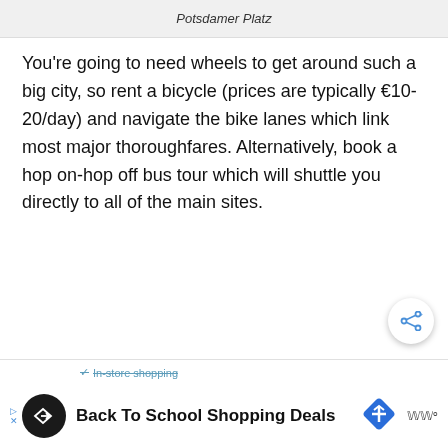Potsdamer Platz
You're going to need wheels to get around such a big city, so rent a bicycle (prices are typically €10-20/day) and navigate the bike lanes which link most major thoroughfares. Alternatively, book a hop on-hop off bus tour which will shuttle you directly to all of the main sites.